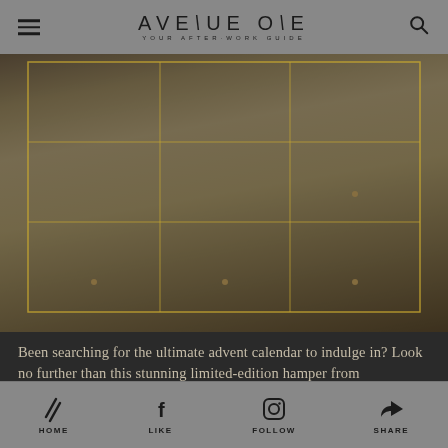AVENUE ONE — YOUR AFTER-WORK GUIDE
[Figure (photo): A luxury advent calendar hamper from InterContinental, showing a decorative gold-framed box with compartments, surrounded by gourmet food items, chocolates, and festive decorations on a light background.]
Been searching for the ultimate advent calendar to indulge in? Look no further than this stunning limited-edition hamper from InterContinental
HOME   LIKE   FOLLOW   SHARE